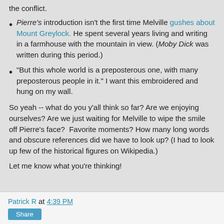the conflict.
Pierre's introduction isn't the first time Melville gushes about Mount Greylock. He spent several years living and writing in a farmhouse with the mountain in view. (Moby Dick was written during this period.)
"But this whole world is a preposterous one, with many preposterous people in it." I want this embroidered and hung on my wall.
So yeah -- what do you y'all think so far? Are we enjoying ourselves? Are we just waiting for Melville to wipe the smile off Pierre's face?  Favorite moments? How many long words and obscure references did we have to look up? (I had to look up few of the historical figures on Wikipedia.)
Let me know what you're thinking!
Patrick R at 4:39 PM